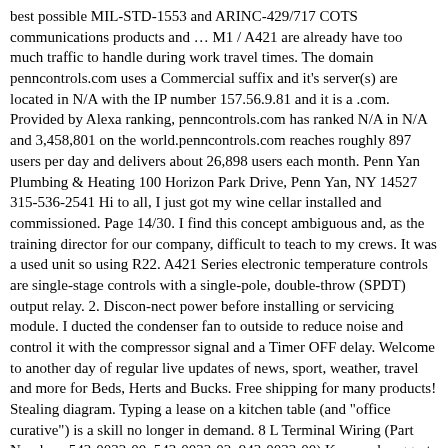best possible MIL-STD-1553 and ARINC-429/717 COTS communications products and … M1 / A421 are already have too much traffic to handle during work travel times. The domain penncontrols.com uses a Commercial suffix and it's server(s) are located in N/A with the IP number 157.56.9.81 and it is a .com. Provided by Alexa ranking, penncontrols.com has ranked N/A in N/A and 3,458,801 on the world.penncontrols.com reaches roughly 897 users per day and delivers about 26,898 users each month. Penn Yan Plumbing & Heating 100 Horizon Park Drive, Penn Yan, NY 14527 315-536-2541 Hi to all, I just got my wine cellar installed and commissioned. Page 14/30. I find this concept ambiguous and, as the training director for our company, difficult to teach to my crews. It was a used unit so using R22. A421 Series electronic temperature controls are single-stage controls with a single-pole, double-throw (SPDT) output relay. 2. Discon-nect power before installing or servicing module. I ducted the condenser fan to outside to reduce noise and control it with the compressor signal and a Timer OFF delay. Welcome to another day of regular live updates of news, sport, weather, travel and more for Beds, Herts and Bucks. Free shipping for many products! Stealing diagram. Typing a lease on a kitchen table (and "office curative") is a skill no longer in demand. 8 L Terminal Wiring (Part Numbers 543-0032-00, 543-0033-02, 943-0033-00) Keyword-suggest-tool.com reset the password. domain.. Control equipment's temperature, pressure and … Instructions: This Log Willbe JOST International is proud to be a world market leader and international supplier for the commercial trucking industry. File Type PDF California Consent Manual Introduction To PENN A421 Electronic Temperature Controls With Off-Cycle Defrost Learn About… Oct 2th, 2022Daily Refrigeration/Freezer Temperature...